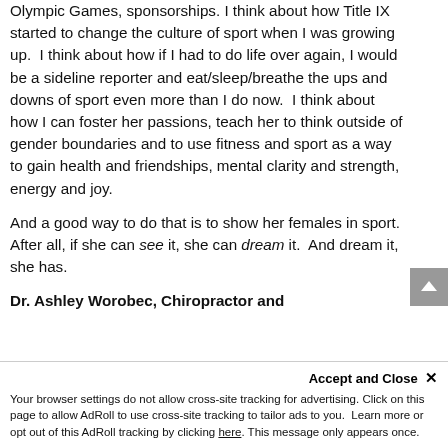Olympic Games, sponsorships. I think about how Title IX started to change the culture of sport when I was growing up. I think about how if I had to do life over again, I would be a sideline reporter and eat/sleep/breathe the ups and downs of sport even more than I do now. I think about how I can foster her passions, teach her to think outside of gender boundaries and to use fitness and sport as a way to gain health and friendships, mental clarity and strength, energy and joy.
And a good way to do that is to show her females in sport. After all, if she can see it, she can dream it. And dream it, she has.
Dr. Ashley Worobec, Chiropractor and
Your browser settings do not allow cross-site tracking for advertising. Click on this page to allow AdRoll to use cross-site tracking to tailor ads to you. Learn more or opt out of this AdRoll tracking by clicking here. This message only appears once.